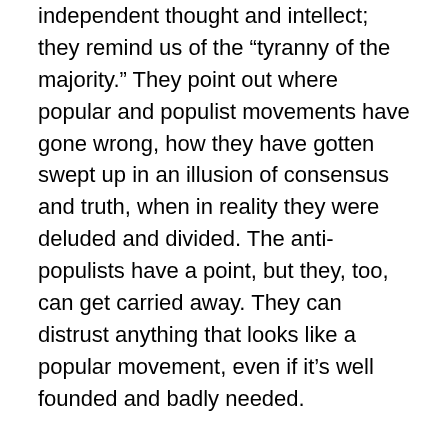independent thought and intellect; they remind us of the “tyranny of the majority.” They point out where popular and populist movements have gone wrong, how they have gotten swept up in an illusion of consensus and truth, when in reality they were deluded and divided. The anti-populists have a point, but they, too, can get carried away. They can distrust anything that looks like a popular movement, even if it’s well founded and badly needed.
How could we bring together the best of elitism and populism, so that we could evaluate ideas on their own merit, allow for individual voices and group efforts, and honor those who devote themselves to education, especially teachers? First, we would have to put an end to the education racket. In many circles, education reform has become lucrative, with consultants making more than a thousand dollars a day. This is obnoxious at best,